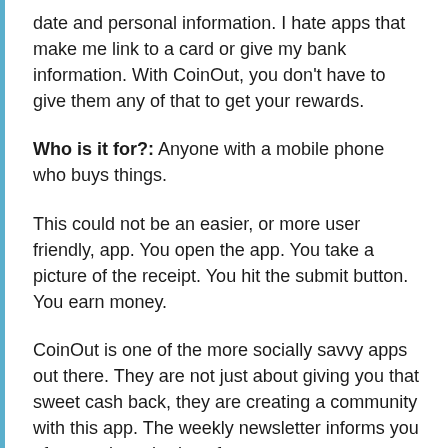date and personal information. I hate apps that make me link to a card or give my bank information. With CoinOut, you don't have to give them any of that to get your rewards.
Who is it for?: Anyone with a mobile phone who buys things.
This could not be an easier, or more user friendly, app. You open the app. You take a picture of the receipt. You hit the submit button. You earn money.
CoinOut is one of the more socially savvy apps out there. They are not just about giving you that sweet cash back, they are creating a community with this app. The weekly newsletter informs you of promotions, badges for purchases made from a brand partner, and winners of the constant sweepstakes. Seriously, there are